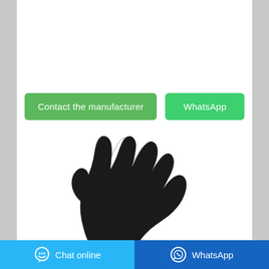[Figure (other): Button labeled 'Contact the manufacturer' with green rounded rectangle background]
[Figure (other): Button labeled 'WhatsApp' with green rounded rectangle background]
[Figure (photo): A black nitrile examination glove worn on a hand, shown against white background]
[Figure (other): Footer bar with 'Chat online' on cyan background (left) and 'WhatsApp' on blue background (right), each with a chat/phone icon]